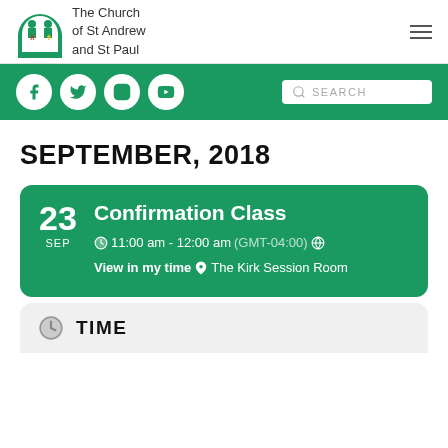[Figure (logo): The Church of St Andrew and St Paul logo with stained glass arch icon and text]
[Figure (infographic): Green navigation bar with social media icons (Facebook, Twitter, Instagram, YouTube) and a search box]
SEPTEMBER, 2018
23 SEP — Confirmation Class — 11:00 am - 12:00 am (GMT-04:00) View in my time — The Kirk Session Room
TIME